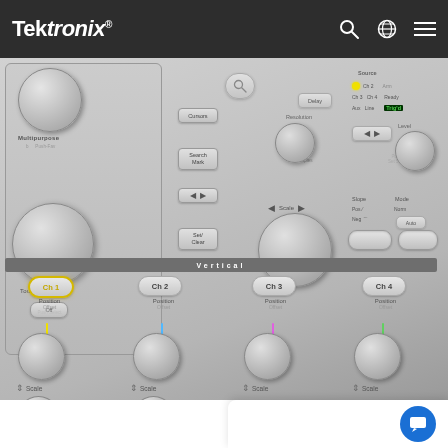[Figure (screenshot): Tektronix website navigation bar with logo, search icon, globe icon, and hamburger menu on dark background]
[Figure (photo): Close-up photograph of Tektronix oscilloscope front panel showing control knobs, buttons for Multipurpose, Touch Screen, Cursors, Search/Mark, Set/Clear, Delay, Resolution/Scale, and trigger controls (Source, Level, Slope, Mode) with Vertical section showing Ch1, Ch2, Ch3, Ch4 channel buttons with Position/Offset knobs and Scale controls. Ch1 button is highlighted in yellow. Trig'd indicator shown in green.]